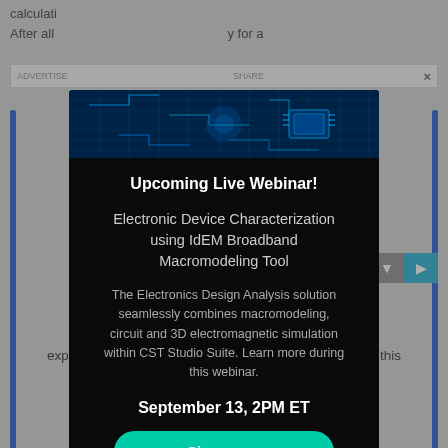calculati... After all ... y for a
ADVERTISE... SHARE ×
[Figure (screenshot): Modal popup advertisement for an upcoming live webinar on Electronic Device Characterization using IdEM Broadband Macromodeling Tool, with circuit board background image, webinar description, date September 13 2PM ET, and a Sign up button]
Upcoming Live Webinar!
Electronic Device Characterization using IdEM Broadband Macromodeling Tool
The Electronics Design Analysis solution seamlessly combines macromodeling, circuit and 3D electromagnetic simulation within CST Studio Suite. Learn more during this webinar.
September 13, 2PM ET
Sign up >
Unauthorized reproduction prohibited without expressed written permission. Registration on or use of this site constitutes acceptance of our Privacy Policy.
engineering.com